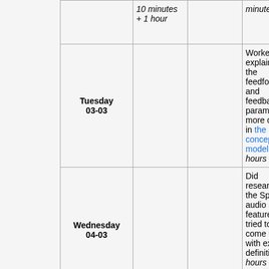| Day |  |  | Notes |
| --- | --- | --- | --- |
|  | 10 minutes
+ 1 hour |  | minutes |
| Tuesday
03-03 |  |  | Worked on explaining the feedforward and feedback parameters more clearly in the concept model: 2 hours |
| Wednesday
04-03 |  |  | Did research on the Spotify audio features, tried to come up with exact definitions hours |